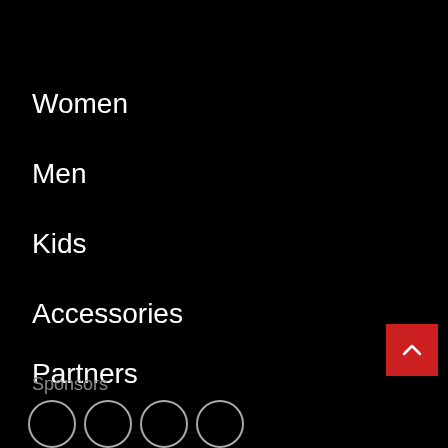Women
Men
Kids
Accessories
Partners
Sponsors
[Figure (illustration): Red back-to-top button with upward chevron arrow]
[Figure (illustration): Four circular sponsor logo placeholders at bottom]